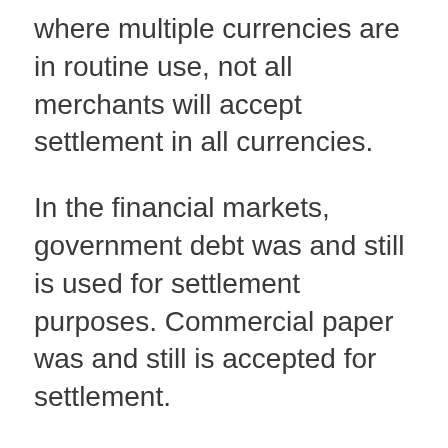where multiple currencies are in routine use, not all merchants will accept settlement in all currencies.
In the financial markets, government debt was and still is used for settlement purposes. Commercial paper was and still is accepted for settlement.
Even if you cannot use those things to buy bread, they contribute as substitutes for true money for certain things and as such they lessen the demand for true money. When those those things cease to be accepted as money, you get